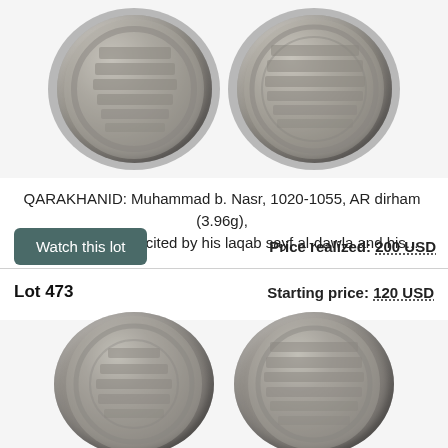[Figure (photo): Two sides of a Qarakhanid AR dirham coin, showing obverse and reverse with Arabic inscriptions]
QARAKHANID: Muhammad b. Nasr, 1020-1055, AR dirham (3.96g), ND, A-3322, ruler cited by his laqab sayf al-dawla and his...
Watch this lot
Price realized: 200 USD
Lot 473
Starting price: 120 USD
[Figure (photo): Two sides of another Islamic silver dirham coin showing obverse and reverse with Arabic script]